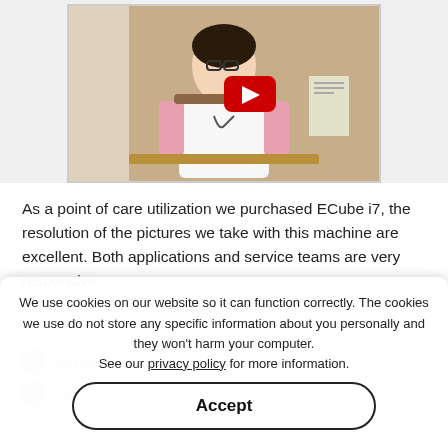[Figure (photo): Video thumbnail showing a female doctor wearing glasses and a white coat with pink patterned sleeves, sitting at a desk. A YouTube play button is visible in the center-right of the image.]
As a point of care utilization we purchased ECube i7, the resolution of the pictures we take with this machine are excellent. Both applications and service teams are very responsive.
We use cookies on our website so it can function correctly. The cookies we use do not store any specific information about you personally and they won't harm your computer. See our privacy policy for more information.
Accept
Business Enquiry
Get Update on BPL Medical Technologies